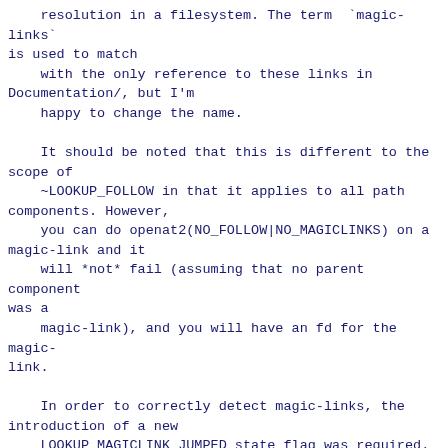resolution in a filesystem. The term `magic-links` is used to match
    with the only reference to these links in Documentation/, but I'm
    happy to change the name.

    It should be noted that this is different to the scope of
    ~LOOKUP_FOLLOW in that it applies to all path components. However,
    you can do openat2(NO_FOLLOW|NO_MAGICLINKS) on a magic-link and it
    will *not* fail (assuming that no parent component was a
    magic-link), and you will have an fd for the magic-link.

    In order to correctly detect magic-links, the introduction of a new
    LOOKUP_MAGICLINK_JUMPED state flag was required.

  * LOOKUP_BENEATH disallows escapes to outside the starting dirfd's
    tree, using techniques such as ".." or absolute links. Absolute
    paths in openat(2) are also disallowed. Conceptually this flag is to
    ensure you "stay below" a certain point in the filesystem tree --
    but this requires some additional to protect